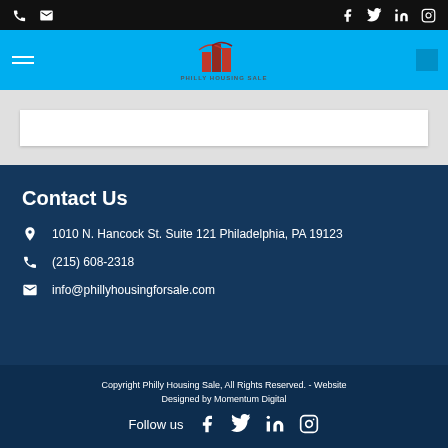Top navigation bar with phone, email, and social icons
[Figure (logo): Philly Housing Sale logo with red building silhouettes on blue nav bar]
Contact Us
1010 N. Hancock St. Suite 121 Philadelphia, PA 19123
(215) 608-2318
info@phillyhousingforsale.com
Copyright Philly Housing Sale, All Rights Reserved. - Website Designed by Momentum Digital
Follow us